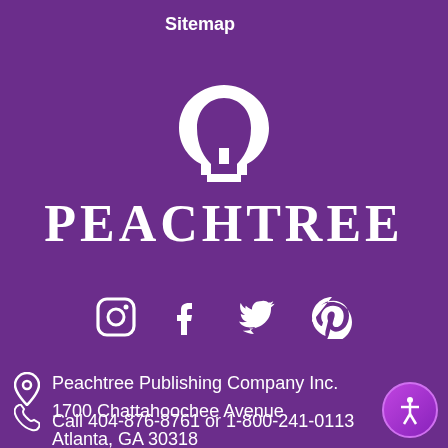Sitemap
[Figure (logo): Peachtree Publishing Company logo: white omega-like symbol above the word PEACHTREE in white serif letters on purple background]
[Figure (infographic): Social media icons: Instagram, Facebook, Twitter, Pinterest — all in white on purple background]
Peachtree Publishing Company Inc.
1700 Chattahoochee Avenue
Atlanta, GA 30318
Call 404-876-8761 or 1-800-241-0113